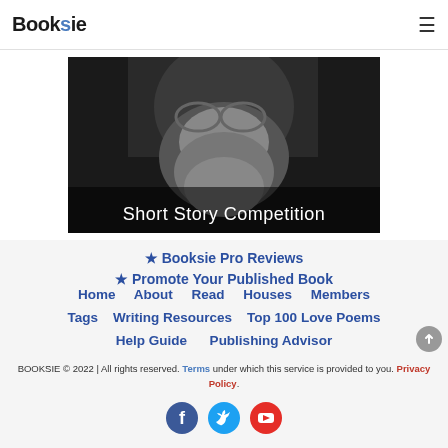Booksie
[Figure (photo): Black and white photo of an elderly bearded man looking upward, with text overlay 'Short Story Competition']
★ Booksie Pro Reviews
★ Promote Your Published Book
Home   About   Read   Houses   Members
Tags   Writing Resources   Top 100 Love Poems
Help Guide   Publishing Advisor
BOOKSIE © 2022 | All rights reserved. Terms under which this service is provided to you. Privacy Policy.